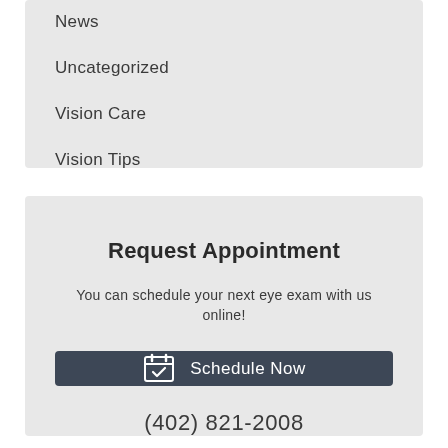News
Uncategorized
Vision Care
Vision Tips
Request Appointment
You can schedule your next eye exam with us online!
Schedule Now
(402) 821-2008